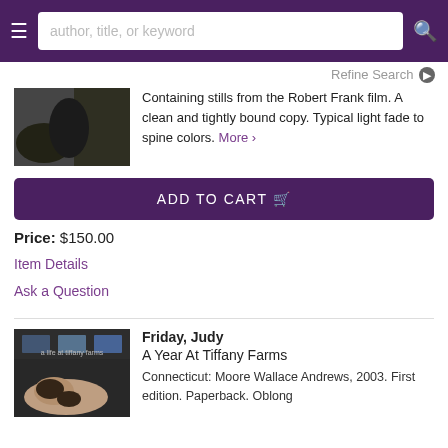author, title, or keyword
Refine Search
Containing stills from the Robert Frank film. A clean and tightly bound copy. Typical light fade to spine colors. More >
ADD TO CART
Price: $150.00
Item Details
Ask a Question
Friday, Judy
A Year At Tiffany Farms
Connecticut: Moore Wallace Andrews, 2003. First edition. Paperback. Oblong